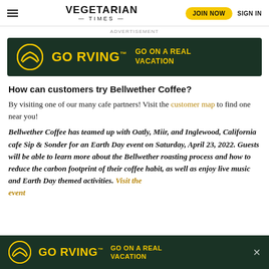VEGETARIAN TIMES | JOIN NOW | SIGN IN
[Figure (other): Go RVing advertisement banner: dark green background with yellow Go RVing logo and text 'GO ON A REAL VACATION']
How can customers try Bellwether Coffee?
By visiting one of our many cafe partners! Visit the customer map to find one near you!
Bellwether Coffee has teamed up with Oatly, Miir, and Inglewood, California cafe Sip & Sonder for an Earth Day event on Saturday, April 23, 2022. Guests will be able to learn more about the Bellwether roasting process and how to reduce the carbon footprint of their coffee habit, as well as enjoy live music and Earth Day themed activities. Visit the event
[Figure (other): Go RVing sticky bottom advertisement: dark green background with yellow Go RVing logo and text 'GO ON A REAL VACATION' with a close button]